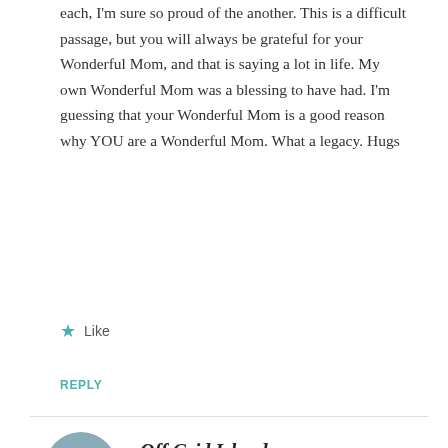each, I'm sure so proud of the another. This is a difficult passage, but you will always be grateful for your Wonderful Mom, and that is saying a lot in life. My own Wonderful Mom was a blessing to have had. I'm guessing that your Wonderful Mom is a good reason why YOU are a Wonderful Mom. What a legacy. Hugs
Like
REPLY
Off Grid Islanders
MAY 5, 2017 AT 7:51 AM